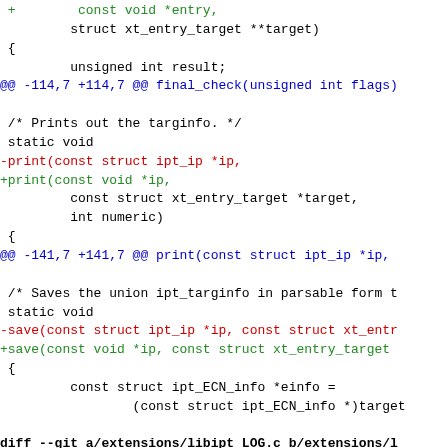Code diff showing changes to iptables extension files including libipt_ECN.c and libipt_LOG.c
@@ -114,7 +114,7 @@ final_check(unsigned int flags)
/* Prints out the targinfo. */
static void
-print(const struct ipt_ip *ip,
+print(const void *ip,
        const struct xt_entry_target *target,
        int numeric)
@@ -141,7 +141,7 @@ print(const struct ipt_ip *ip,
/* Saves the union ipt_targinfo in parsable form t
static void
-save(const struct ipt_ip *ip, const struct xt_entr
+save(const void *ip, const struct xt_entry_target
diff --git a/extensions/libipt_LOG.c b/extensions/l
index 11418085..dca1edf2 100644
--- a/extensions/libipt_LOG.c
+++ b/extensions/libipt_LOG.c
@@ -110,7 +110,7 @@ parse_level(const char *level)
    ate an option */
 static int